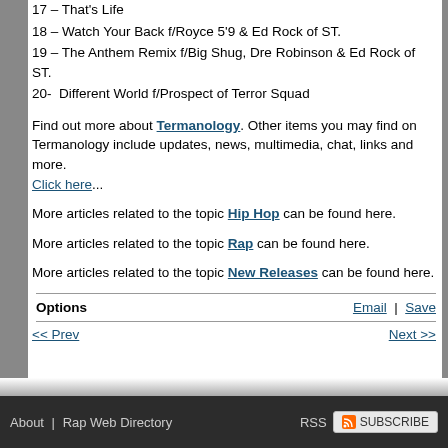17 – That's Life
18 – Watch Your Back f/Royce 5'9 & Ed Rock of ST.
19 – The Anthem Remix f/Big Shug, Dre Robinson & Ed Rock of ST.
20-  Different World f/Prospect of Terror Squad
Find out more about Termanology. Other items you may find on Termanology include updates, news, multimedia, chat, links and more. Click here...
More articles related to the topic Hip Hop can be found here.
More articles related to the topic Rap can be found here.
More articles related to the topic New Releases can be found here.
| Options | Email | Save |
| --- | --- |
| << Prev | Next >> |
About | Rap Web Directory    RSS  SUBSCRIBE